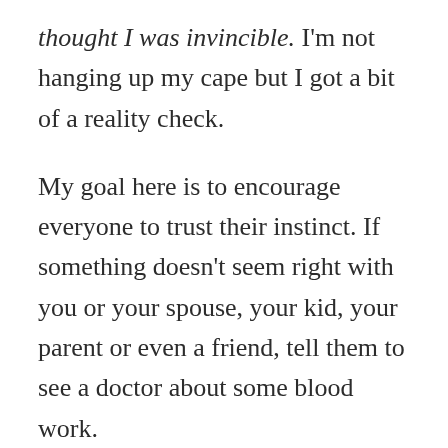thought I was invincible. I'm not hanging up my cape but I got a bit of a reality check.
My goal here is to encourage everyone to trust their instinct. If something doesn't seem right with you or your spouse, your kid, your parent or even a friend, tell them to see a doctor about some blood work.